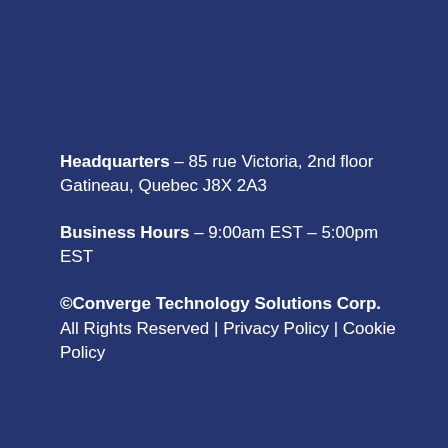Headquarters – 85 rue Victoria, 2nd floor Gatineau, Quebec J8X 2A3
Business Hours – 9:00am EST – 5:00pm EST
©Converge Technology Solutions Corp. All Rights Reserved | Privacy Policy | Cookie Policy